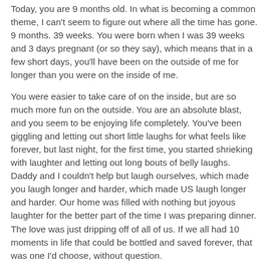Today, you are 9 months old. In what is becoming a common theme, I can't seem to figure out where all the time has gone. 9 months. 39 weeks. You were born when I was 39 weeks and 3 days pregnant (or so they say), which means that in a few short days, you'll have been on the outside of me for longer than you were on the inside of me.
You were easier to take care of on the inside, but are so much more fun on the outside. You are an absolute blast, and you seem to be enjoying life completely. You've been giggling and letting out short little laughs for what feels like forever, but last night, for the first time, you started shrieking with laughter and letting out long bouts of belly laughs. Daddy and I couldn't help but laugh ourselves, which made you laugh longer and harder, which made US laugh longer and harder. Our home was filled with nothing but joyous laughter for the better part of the time I was preparing dinner. The love was just dripping off of all of us. If we all had 10 moments in life that could be bottled and saved forever, that was one I'd choose, without question.
At 9 months old, you've hit many big milestones. You hardly